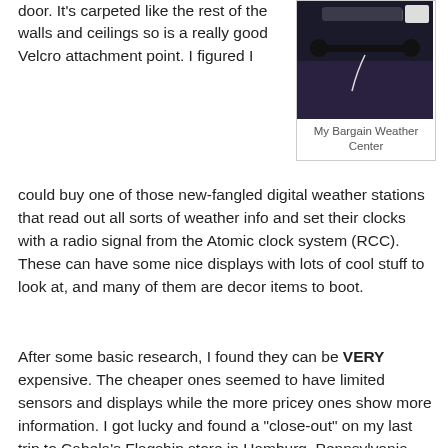door. It's carpeted like the rest of the walls and ceilings so is a really good Velcro attachment point. I figured I could buy one of those new-fangled digital weather stations that read out all sorts of weather info and set their clocks with a radio signal from the Atomic clock system (RCC). These can have some nice displays with lots of cool stuff to look at, and many of them are decor items to boot.
[Figure (photo): A dark photo showing what appears to be a weather station device mounted or placed on a carpeted surface. The device has a black rod/antenna component visible.]
My Bargain Weather Center
After some basic research, I found they can be VERY expensive. The cheaper ones seemed to have limited sensors and displays while the more pricey ones show more information. I got lucky and found a "close-out" on my last trip to Cabela's Flagship store in Hamburg, Pennsylvania (Stay Tuned for a Road Trip Report!). They had a normally >$100.00 one with wind speed and rain sensor AND a remote display temperature/humidity that also transmits its